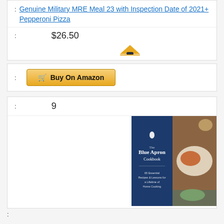: Genuine Military MRE Meal 23 with Inspection Date of 2021+ Pepperoni Pizza
: $26.50
[Figure (logo): Amazon logo]
: Buy On Amazon
: 9
[Figure (photo): The Blue Apron Cookbook book cover with food photography]